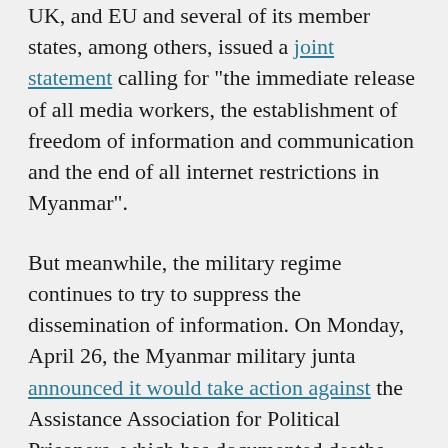UK, and EU and several of its member states, among others, issued a joint statement calling for “the immediate release of all media workers, the establishment of freedom of information and communication and the end of all internet restrictions in Myanmar”.
But meanwhile, the military regime continues to try to suppress the dissemination of information. On Monday, April 26, the Myanmar military junta announced it would take action against the Assistance Association for Political Prisoners, which has documented deaths and arrests by military regime troops since the military coup. Many international